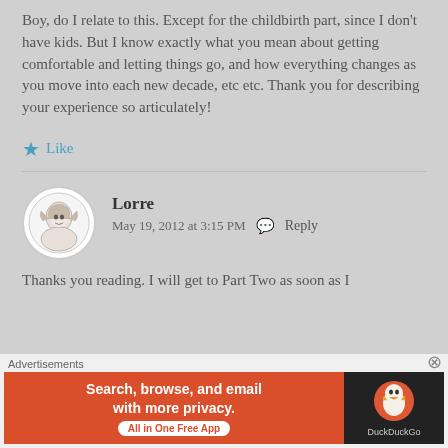Boy, do I relate to this. Except for the childbirth part, since I don't have kids. But I know exactly what you mean about getting comfortable and letting things go, and how everything changes as you move into each new decade, etc etc. Thank you for describing your experience so articulately!
★ Like
Lorre
May 19, 2012 at 3:15 PM  Reply
Thanks you reading. I will get to Part Two as soon as I
[Figure (other): Advertisement banner: DuckDuckGo app promotion - 'Search, browse, and email with more privacy. All in One Free App' on orange background with DuckDuckGo duck logo on dark background]